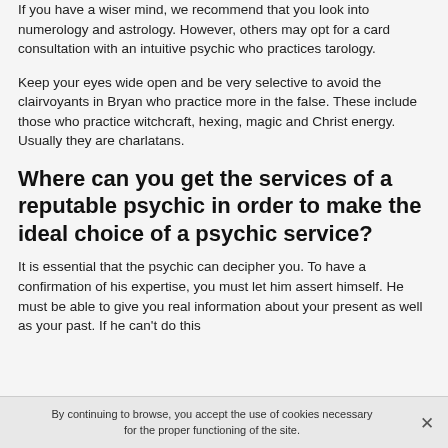If you have a wiser mind, we recommend that you look into numerology and astrology. However, others may opt for a card consultation with an intuitive psychic who practices tarology.
Keep your eyes wide open and be very selective to avoid the clairvoyants in Bryan who practice more in the false. These include those who practice witchcraft, hexing, magic and Christ energy. Usually they are charlatans.
Where can you get the services of a reputable psychic in order to make the ideal choice of a psychic service?
It is essential that the psychic can decipher you. To have a confirmation of his expertise, you must let him assert himself. He must be able to give you real information about your present as well as your past. If he can't do this
By continuing to browse, you accept the use of cookies necessary for the proper functioning of the site.